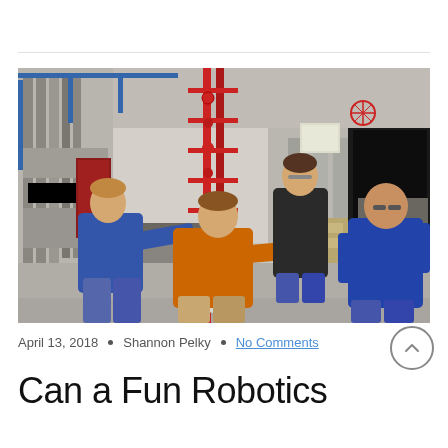[Figure (photo): Four people working on a tall red robotics machine in an industrial warehouse/workshop setting. One person in a blue hoodie bends over the machine from the left, one in an orange hoodie pushes from the front, one in a black hoodie stands behind observing, and one in a blue polo shirt stands to the right watching.]
April 13, 2018 • Shannon Pelky • No Comments
Can a Fun Robotics